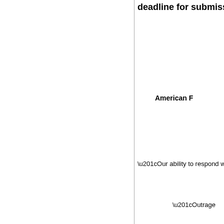deadline for submiss
American F
“Our ability to respond with o
“Outrage